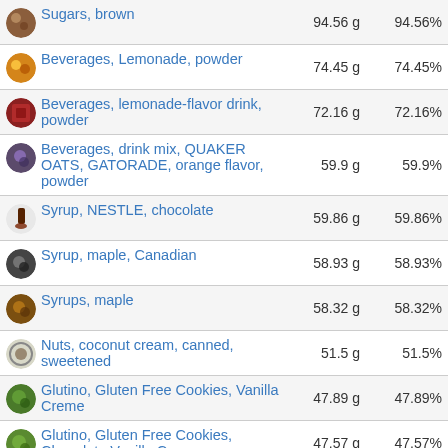| Food | Amount | Percent |
| --- | --- | --- |
| Sugars, brown | 94.56 g | 94.56% |
| Beverages, Lemonade, powder | 74.45 g | 74.45% |
| Beverages, lemonade-flavor drink, powder | 72.16 g | 72.16% |
| Beverages, drink mix, QUAKER OATS, GATORADE, orange flavor, powder | 59.9 g | 59.9% |
| Syrup, NESTLE, chocolate | 59.86 g | 59.86% |
| Syrup, maple, Canadian | 58.93 g | 58.93% |
| Syrups, maple | 58.32 g | 58.32% |
| Nuts, coconut cream, canned, sweetened | 51.5 g | 51.5% |
| Glutino, Gluten Free Cookies, Vanilla Creme | 47.89 g | 47.89% |
| Glutino, Gluten Free Cookies, Chocolate Vanilla Creme | 47.57 g | 47.57% |
| Cookies, gluten-free, chocolate sandwich, with creme filling | 47.57 g | 47.57% |